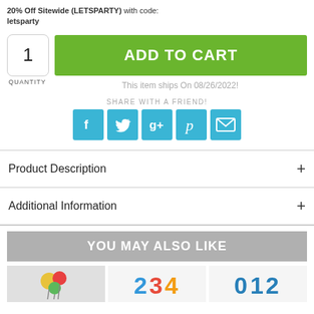20% Off Sitewide (LETSPARTY) with code: letsparty
[Figure (screenshot): Add to cart UI with quantity box showing '1' and green ADD TO CART button]
This item ships On 08/26/2022!
SHARE WITH A FRIEND!
[Figure (infographic): Social sharing icons: Facebook, Twitter, Google+, Pinterest, Email]
Product Description +
Additional Information +
YOU MAY ALSO LIKE
[Figure (photo): Product thumbnails at bottom: colorful balloon image, number balloons 2 3 4, and blue number balloons 0 1 2]